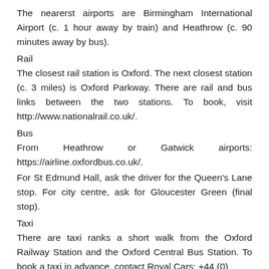The nearerst airports are Birmingham International Airport (c. 1 hour away by train) and Heathrow (c. 90 minutes away by bus).
Rail
The closest rail station is Oxford. The next closest station (c. 3 miles) is Oxford Parkway. There are rail and bus links between the two stations. To book, visit http://www.nationalrail.co.uk/.
Bus
From Heathrow or Gatwick airports: https://airline.oxfordbus.co.uk/.
For St Edmund Hall, ask the driver for the Queen's Lane stop. For city centre, ask for Gloucester Green (final stop).
Taxi
There are taxi ranks a short walk from the Oxford Railway Station and the Oxford Central Bus Station. To book a taxi in advance, contact Royal Cars: +44 (0)